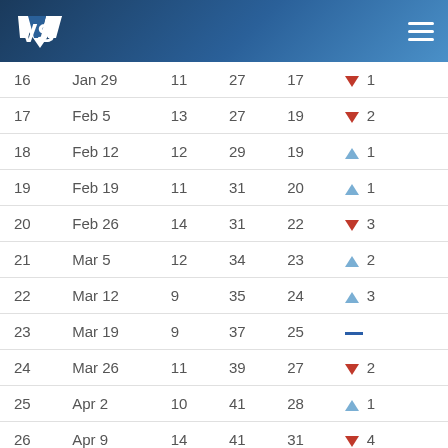VS logo and hamburger menu
| 16 | Jan 29 | 11 | 27 | 17 | ▼ 1 |
| 17 | Feb 5 | 13 | 27 | 19 | ▼ 2 |
| 18 | Feb 12 | 12 | 29 | 19 | ▲ 1 |
| 19 | Feb 19 | 11 | 31 | 20 | ▲ 1 |
| 20 | Feb 26 | 14 | 31 | 22 | ▼ 3 |
| 21 | Mar 5 | 12 | 34 | 23 | ▲ 2 |
| 22 | Mar 12 | 9 | 35 | 24 | ▲ 3 |
| 23 | Mar 19 | 9 | 37 | 25 | — |
| 24 | Mar 26 | 11 | 39 | 27 | ▼ 2 |
| 25 | Apr 2 | 10 | 41 | 28 | ▲ 1 |
| 26 | Apr 9 | 14 | 41 | 31 | ▼ 4 |